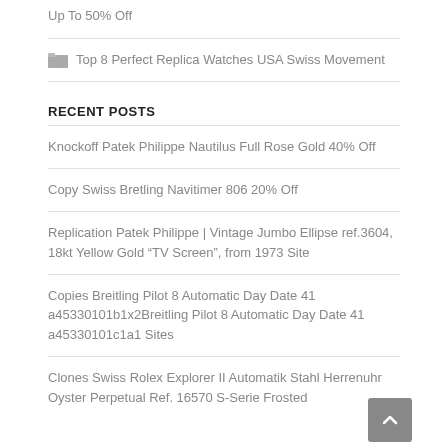Up To 50% Off
Top 8 Perfect Replica Watches USA Swiss Movement
RECENT POSTS
Knockoff Patek Philippe Nautilus Full Rose Gold 40% Off
Copy Swiss Bretling Navitimer 806 20% Off
Replication Patek Philippe | Vintage Jumbo Ellipse ref.3604, 18kt Yellow Gold “TV Screen”, from 1973 Site
Copies Breitling Pilot 8 Automatic Day Date 41 a45330101b1x2Breitling Pilot 8 Automatic Day Date 41 a45330101c1a1 Sites
Clones Swiss Rolex Explorer II Automatik Stahl Herrenuhr Oyster Perpetual Ref. 16570 S-Serie Frosted